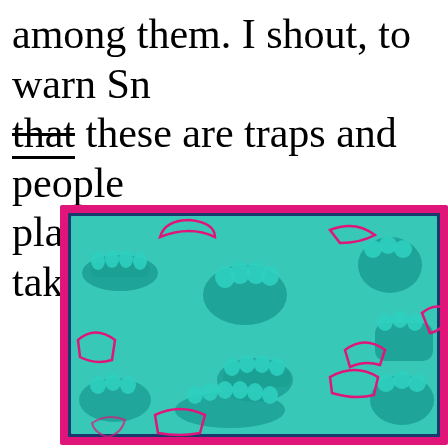among them. I shout, to warn Sn—t these are traps and people playing the game must take care
[Figure (illustration): An illustration or artwork showing multiple dentures/teeth forms rendered in teal/turquoise on a teal background, with pink/magenta outlines of tooth and denture shapes scattered throughout. The image is bordered with a thick pink/magenta frame and a thin blue inner border.]